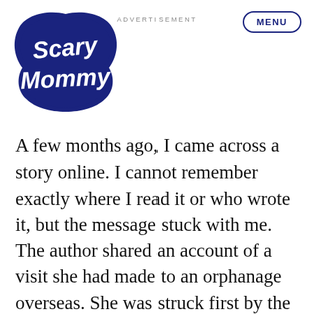[Figure (logo): Scary Mommy logo in dark navy blue cursive bubble lettering on a cloud/scroll-shaped badge]
ADVERTISEMENT
MENU
A few months ago, I came across a story online. I cannot remember exactly where I read it or who wrote it, but the message stuck with me. The author shared an account of a visit she had made to an orphanage overseas. She was struck first by the sheer number of infants they were caring for. But then something stood out to her. She noticed that none of the babies were crying. All of the babies laid quietly in their